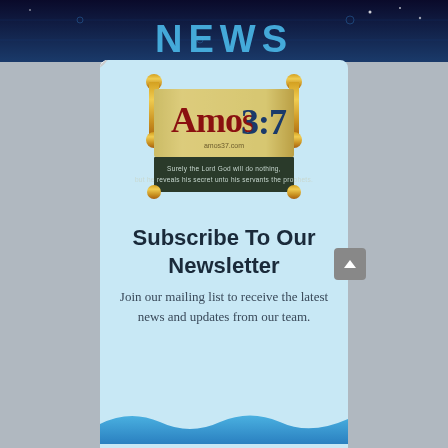[Figure (screenshot): Amos 3:7 website newsletter subscription modal popup with scroll logo, close button, subscribe heading, and body text on a light blue background]
Subscribe To Our Newsletter
Join our mailing list to receive the latest news and updates from our team.